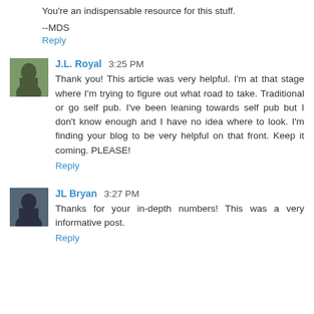You're an indispensable resource for this stuff.
--MDS
Reply
J.L. Royal 3:25 PM
Thank you! This article was very helpful. I'm at that stage where I'm trying to figure out what road to take. Traditional or go self pub. I've been leaning towards self pub but I don't know enough and I have no idea where to look. I'm finding your blog to be very helpful on that front. Keep it coming. PLEASE!
Reply
JL Bryan 3:27 PM
Thanks for your in-depth numbers! This was a very informative post.
Reply